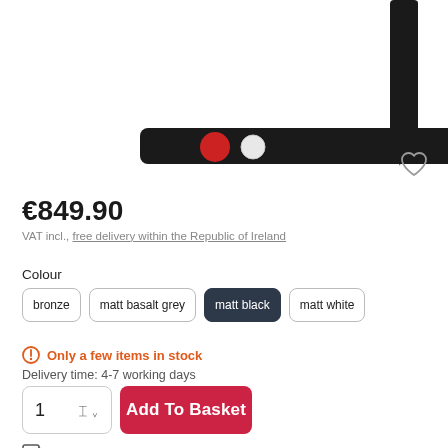[Figure (photo): Partial view of a treadmill base/foot section in black, showing two circular indicators (red and white), photographed from the side. The frame pole extends upward on the right side. A heart/wishlist icon is in the upper right corner.]
€849.90
VAT incl., free delivery within the Republic of Ireland
Colour
bronze
matt basalt grey
matt black
matt white
Only a few items in stock
Delivery time: 4-7 working days
1
Add To Basket
Free delivery